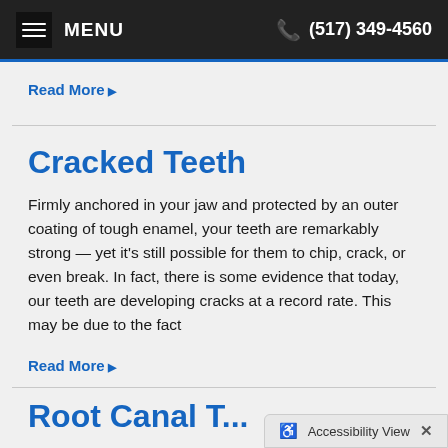MENU   (517) 349-4560
Read More ▶
Cracked Teeth
Firmly anchored in your jaw and protected by an outer coating of tough enamel, your teeth are remarkably strong — yet it's still possible for them to chip, crack, or even break. In fact, there is some evidence that today, our teeth are developing cracks at a record rate. This may be due to the fact
Read More ▶
Root Canal T…